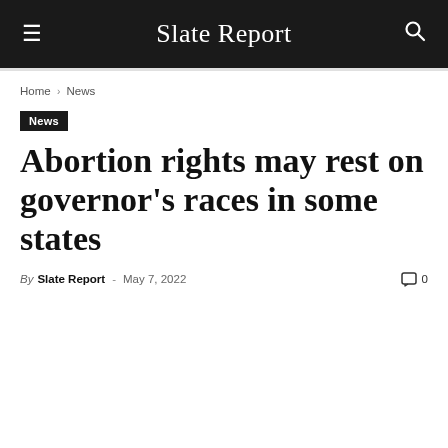Slate Report
Home › News
News
Abortion rights may rest on governor's races in some states
By Slate Report - May 7, 2022  0